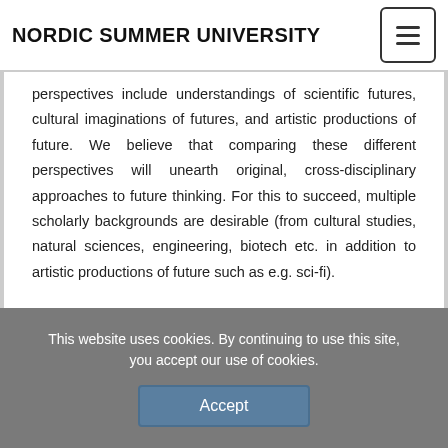NORDIC SUMMER UNIVERSITY
perspectives include understandings of scientific futures, cultural imaginations of futures, and artistic productions of future. We believe that comparing these different perspectives will unearth original, cross-disciplinary approaches to future thinking. For this to succeed, multiple scholarly backgrounds are desirable (from cultural studies, natural sciences, engineering, biotech etc. in addition to artistic productions of future such as e.g. sci-fi).
This website uses cookies. By continuing to use this site, you accept our use of cookies.